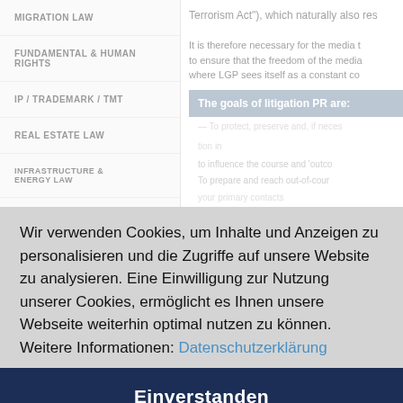MIGRATION LAW
FUNDAMENTAL & HUMAN RIGHTS
IP / TRADEMARK / TMT
REAL ESTATE LAW
INFRASTRUCTURE & ENERGY LAW
WEALTH MANAGEMENT & ASSET PROTECTION
Terrorism Act"), which naturally also res...
It is therefore necessary for the media to ensure that the freedom of the media where LGP sees itself as a constant co...
The goals of litigation PR are:
To protect, preserve and, if neces...
...tion in...
...to influence the course and outco...
To prepare and reach out-of-cour...
your primary contacts
Dr. Gerald Sattger
Wir verwenden Cookies, um Inhalte und Anzeigen zu personalisieren und die Zugriffe auf unsere Website zu analysieren. Eine Einwilligung zur Nutzung unserer Cookies, ermöglicht es Ihnen unsere Webseite weiterhin optimal nutzen zu können. Weitere Informationen: Datenschutzerklärung
Einverstanden